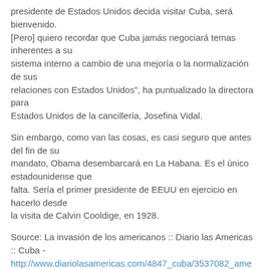presidente de Estados Unidos decida visitar Cuba, será bienvenido.
[Pero] quiero recordar que Cuba jamás negociará temas inherentes a su
sistema interno a cambio de una mejoría o la normalización de sus
relaciones con Estados Unidos", ha puntualizado la directora para
Estados Unidos de la cancillería, Josefina Vidal.
Sin embargo, como van las cosas, es casi seguro que antes del fin de su
mandato, Obama desembarcará en La Habana. Es el único estadounidense que
falta. Sería el primer presidente de EEUU en ejercicio en hacerlo desde
la visita de Calvin Cooldige, en 1928.
Source: La invasión de los americanos :: Diario las Americas :: Cuba -
http://www.diariolasamericas.com/4847_cuba/3537082_americanos-la-habana-rui-ferreira.html